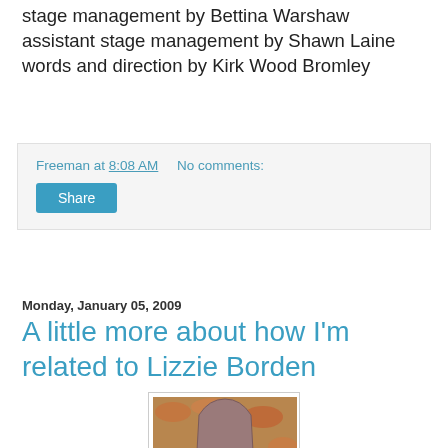stage management by Bettina Warshaw
assistant stage management by Shawn Laine
words and direction by Kirk Wood Bromley
Freeman at 8:08 AM    No comments:
Share
Monday, January 05, 2009
A little more about how I'm related to Lizzie Borden
[Figure (photo): A photograph of a gravestone with a bronze plaque, surrounded by autumn leaves on the ground.]